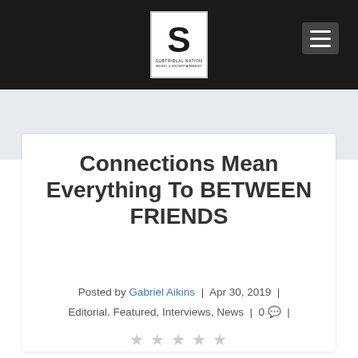[Figure (logo): Website header with black background, a white box containing a bold 'S' logo with small text 'SUBTRIBLAL NATION' below, and a hamburger menu icon on the right]
Connections Mean Everything To BETWEEN FRIENDS
Posted by Gabriel Aikins | Apr 30, 2019 | Editorial, Featured, Interviews, News | 0 |
[Figure (other): Five empty/outline star rating icons]